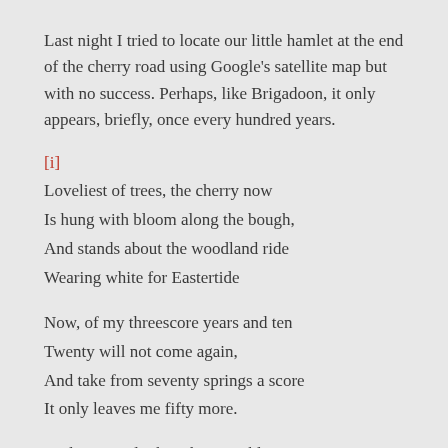Last night I tried to locate our little hamlet at the end of the cherry road using Google's satellite map but with no success. Perhaps, like Brigadoon, it only appears, briefly, once every hundred years.
[i]
Loveliest of trees, the cherry now
Is hung with bloom along the bough,
And stands about the woodland ride
Wearing white for Eastertide
Now, of my threescore years and ten
Twenty will not come again,
And take from seventy springs a score
It only leaves me fifty more.
And since to look at things in bloom
Fifty springs is little room,
About the woodlands I will go